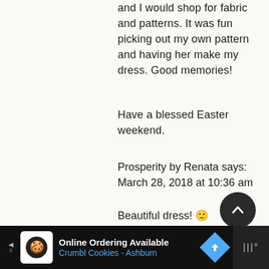and I would shop for fabric and patterns. It was fun picking out my own pattern and having her make my dress. Good memories!
Have a blessed Easter weekend.
Prosperity by Renata says:
March 28, 2018 at 10:36 am
Beautiful dress! 🙂
[Figure (other): Scroll to top button - dark circular button with upward chevron arrow]
[Figure (other): Advertisement bar: Online Ordering Available - Crumbl Cookies - Ashburn, with cookie icon and navigation arrow icon]